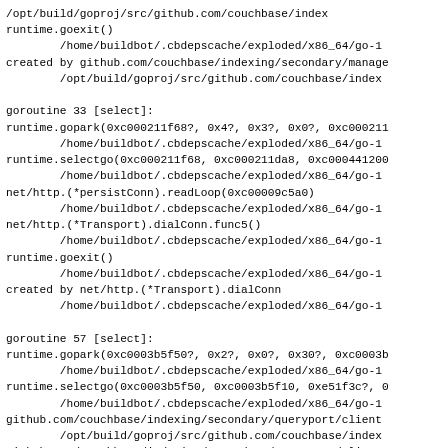/opt/build/goproj/src/github.com/couchbase/index
runtime.goexit()
	/home/buildbot/.cbdepscache/exploded/x86_64/go-1
created by github.com/couchbase/indexing/secondary/manage
	/opt/build/goproj/src/github.com/couchbase/index

goroutine 33 [select]:
runtime.gopark(0xc000211f68?, 0x4?, 0x3?, 0x0?, 0xc000211
	/home/buildbot/.cbdepscache/exploded/x86_64/go-1
runtime.selectgo(0xc000211f68, 0xc000211da8, 0xc000441200
	/home/buildbot/.cbdepscache/exploded/x86_64/go-1
net/http.(*persistConn).readLoop(0xc00009c5a0)
	/home/buildbot/.cbdepscache/exploded/x86_64/go-1
net/http.(*Transport).dialConn.func5()
	/home/buildbot/.cbdepscache/exploded/x86_64/go-1
runtime.goexit()
	/home/buildbot/.cbdepscache/exploded/x86_64/go-1
created by net/http.(*Transport).dialConn
	/home/buildbot/.cbdepscache/exploded/x86_64/go-1

goroutine 57 [select]:
runtime.gopark(0xc0003b5f50?, 0x2?, 0x0?, 0x30?, 0xc0003b
	/home/buildbot/.cbdepscache/exploded/x86_64/go-1
runtime.selectgo(0xc0003b5f50, 0xc0003b5f10, 0xe51f3c?, 0
	/home/buildbot/.cbdepscache/exploded/x86_64/go-1
github.com/couchbase/indexing/secondary/queryport/client
	/opt/build/goproj/src/github.com/couchbase/index
github.com/couchbase/indexing/secondary/queryport/client
	/opt/build/goproj/src/github.com/couchbase/index
runtime.goexit()